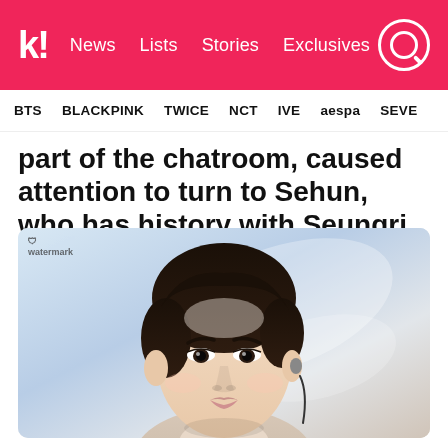k! News Lists Stories Exclusives
BTS BLACKPINK TWICE NCT IVE aespa SEVE
part of the chatroom, caused attention to turn to Sehun, who has history with Seungri.
[Figure (photo): Close-up photo of Sehun (EXO member), a young Asian man with dark brown hair, wearing an in-ear monitor, dressed in a light beige/cream outfit, against a light blue-white background.]